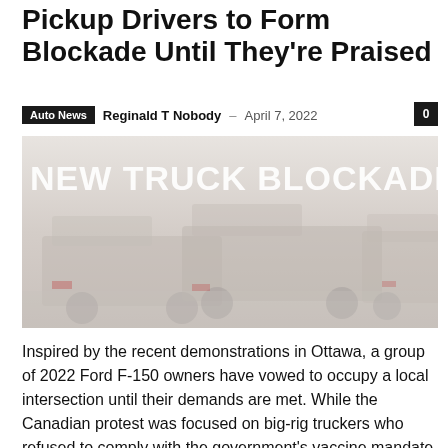Pickup Drivers to Form Blockade Until They're Praised
Auto News   Reginald T Nobody – April 7, 2022
[Figure (photo): Faded image of pickup trucks lined up with overlaid white text reading 'NEW TRUCK BLOCKADE BEGINS']
Inspired by the recent demonstrations in Ottawa, a group of 2022 Ford F-150 owners have vowed to occupy a local intersection until their demands are met. While the Canadian protest was focused on big-rig truckers who refused to comply with the government's vaccine mandate, the pickup protest has